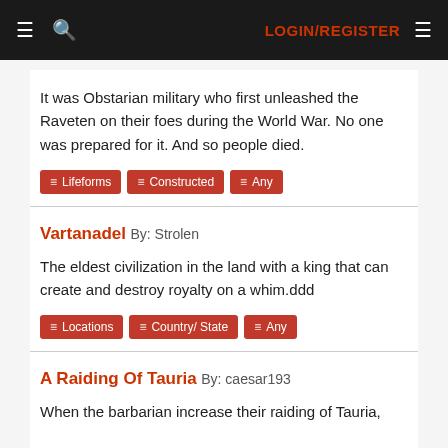≡ 🔍 LOGIN/REGISTER ≡
It was Obstarian military who first unleashed the Raveten on their foes during the World War. No one was prepared for it. And so people died.
Lifeforms
Constructed
Any
Vartanadel By: Strolen
The eldest civilization in the land with a king that can create and destroy royalty on a whim.ddd
Locations
Country/ State
Any
A Raiding Of Tauria By: caesar193
When the barbarian increase their raiding of Tauria,